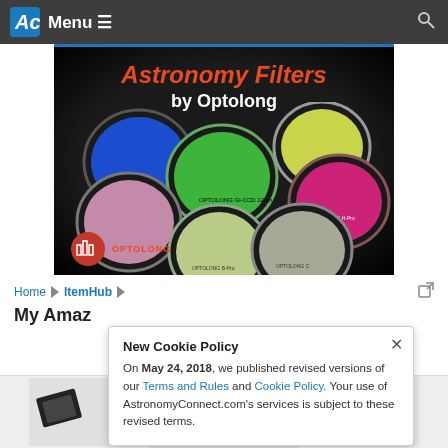Menu
[Figure (photo): Astronomy Filters by Optolong advertisement banner showing colorful astronomy filters on a dark background. Title text reads 'Astronomy Filters by Optolong']
Home > ItemHub
My Amaz
New Cookie Policy
On May 24, 2018, we published revised versions of our Terms and Rules and Cookie Policy. Your use of AstronomyConnect.com's services is subject to these revised terms.